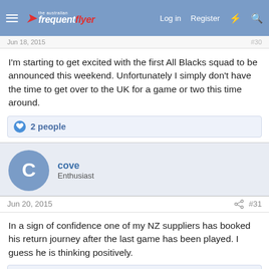Australian Frequent Flyer - navigation bar with Log in, Register links
Jun 18, 2015
I'm starting to get excited with the first All Blacks squad to be announced this weekend. Unfortunately I simply don't have the time to get over to the UK for a game or two this time around.
2 people
cove
Enthusiast
Jun 20, 2015
#31
In a sign of confidence one of my NZ suppliers has booked his return journey after the last game has been played. I guess he is thinking positively.
1 person